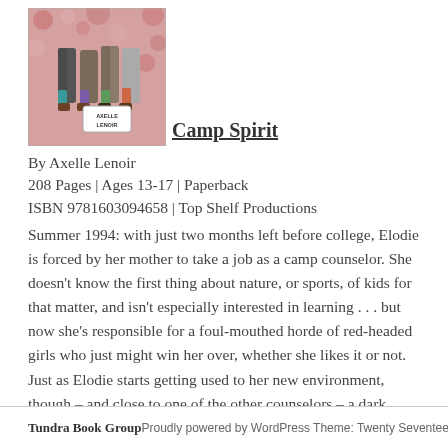[Figure (illustration): Book cover illustration for 'Camp Spirit' by Axelle Lenoir, showing colorful illustrated figures (legs/feet visible) with a pink/floral background. A name tag reads 'Axelle Lenoir'.]
Camp Spirit
By Axelle Lenoir
208 Pages | Ages 13-17 | Paperback
ISBN 9781603094658 | Top Shelf Productions
Summer 1994: with just two months left before college, Elodie is forced by her mother to take a job as a camp counselor. She doesn't know the first thing about nature, or sports, of kids for that matter, and isn't especially interested in learning . . . but now she's responsible for a foul-mouthed horde of red-headed girls who just might win her over, whether she likes it or not. Just as Elodie starts getting used to her new environment, though – and close to one of the other counselors – a dark mystery lurking around the camp begins to haunt her dreams.
Tundra Book Group    Proudly powered by WordPress Theme: Twenty Seventeen.